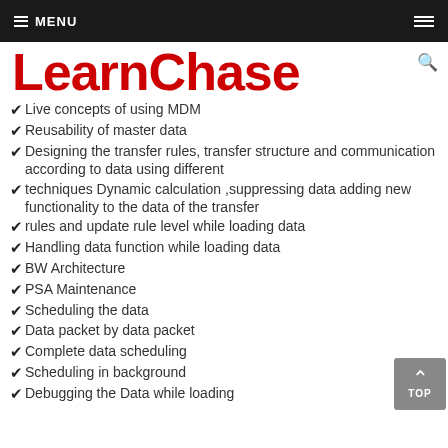MENU
LearnChase
Live concepts of using MDM
Reusability of master data
Designing the transfer rules, transfer structure and communication according to data using different
techniques Dynamic calculation ,suppressing data adding new functionality to the data of the transfer
rules and update rule level while loading data
Handling data function while loading data
BW Architecture
PSA Maintenance
Scheduling the data
Data packet by data packet
Complete data scheduling
Scheduling in background
Debugging the Data while loading